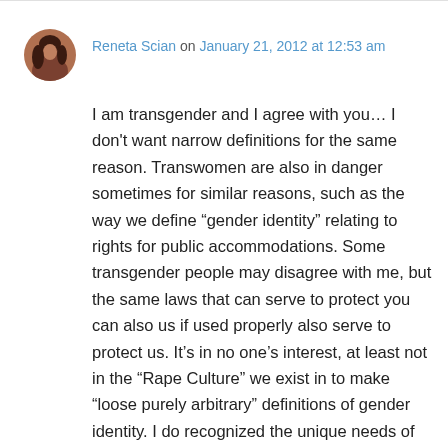[Figure (photo): Small circular avatar photo of Reneta Scian, showing a person with reddish-brown tones]
Reneta Scian on January 21, 2012 at 12:53 am
I am transgender and I agree with you… I don't want narrow definitions for the same reason. Transwomen are also in danger sometimes for similar reasons, such as the way we define “gender identity” relating to rights for public accommodations. Some transgender people may disagree with me, but the same laws that can serve to protect you can also us if used properly also serve to protect us. It’s in no one’s interest, at least not in the “Rape Culture” we exist in to make “losely purely arbitrary” definitions of gender identity. I do recognized the unique needs of cisgender women, and the